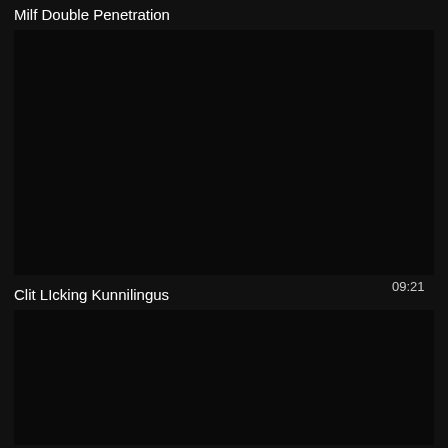Milf Double Penetration
[Figure (other): Dark/black video thumbnail with duration overlay showing 09:21]
09:21
Clit LIcking Kunnilingus
[Figure (other): Dark/black video thumbnail]